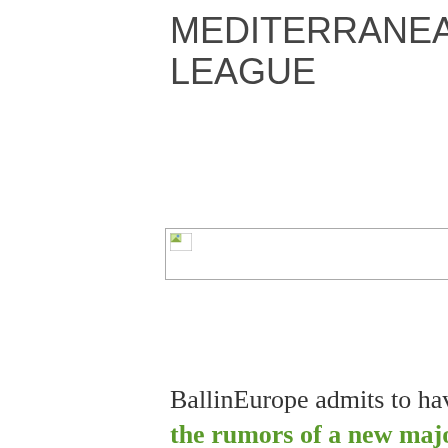MEDITERRANEAN LEAGUE
[Figure (photo): A placeholder image with broken image icon, rectangular, positioned center-right of the page]
BallinEurope admits to having felt a great deal of skepticism when the rumors of a new major pan-European (and now - Asian! But more on that momentarily) basketball association were first announced; day by day it seems, however, that the Mediterranean League